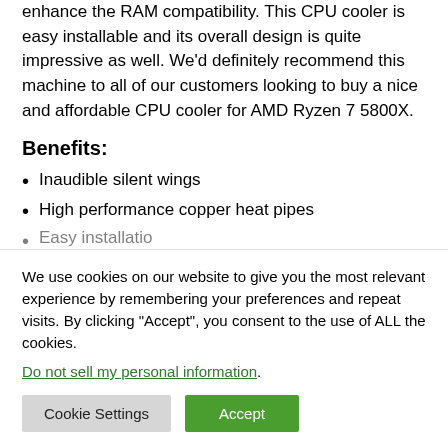enhance the RAM compatibility. This CPU cooler is easy installable and its overall design is quite impressive as well. We'd definitely recommend this machine to all of our customers looking to buy a nice and affordable CPU cooler for AMD Ryzen 7 5800X.
Benefits:
Inaudible silent wings
High performance copper heat pipes
Easy installation
We use cookies on our website to give you the most relevant experience by remembering your preferences and repeat visits. By clicking “Accept”, you consent to the use of ALL the cookies.
Do not sell my personal information.
Cookie Settings | Accept